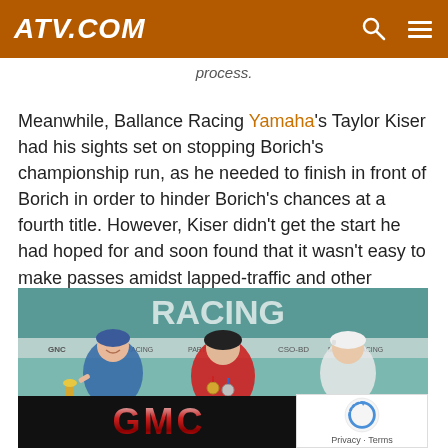ATV.COM
process.
Meanwhile, Ballance Racing Yamaha's Taylor Kiser had his sights set on stopping Borich's championship run, as he needed to finish in front of Borich in order to hinder Borich's chances at a fourth title. However, Kiser didn't get the start he had hoped for and soon found that it wasn't easy to make passes amidst lapped-traffic and other obstacles on the course.
[Figure (photo): Podium photo of three racers at a GNC Racing event with a GMC advertisement overlay at the bottom and a reCAPTCHA badge in the bottom right corner.]